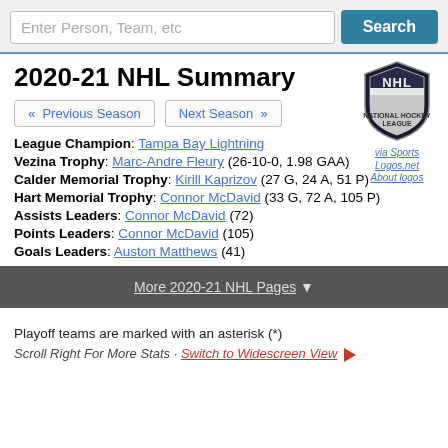Enter Person, Team, etc  Search
2020-21 NHL Summary
« Previous Season   Next Season »
[Figure (logo): NHL shield logo in black and silver]
via Sports Logos.net  About logos
League Champion: Tampa Bay Lightning
Vezina Trophy: Marc-Andre Fleury (26-10-0, 1.98 GAA)
Calder Memorial Trophy: Kirill Kaprizov (27 G, 24 A, 51 P)
Hart Memorial Trophy: Connor McDavid (33 G, 72 A, 105 P)
Assists Leaders: Connor McDavid (72)
Points Leaders: Connor McDavid (105)
Goals Leaders: Auston Matthews (41)
More 2020-21 NHL Pages ▼
Playoff teams are marked with an asterisk (*)
Scroll Right For More Stats · Switch to Widescreen View